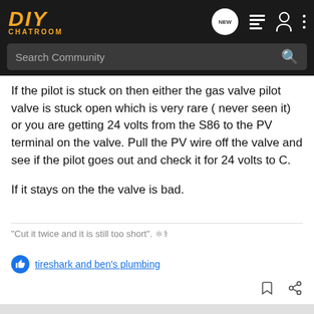DIY CHATROOM
If the pilot is stuck on then either the gas valve pilot valve is stuck open which is very rare ( never seen it) or you are getting 24 volts from the S86 to the PV terminal on the valve. Pull the PV wire off the valve and see if the pilot goes out and check it for 24 volts to C.
If it stays on the the valve is bad.
"Cut it twice and it is still too short".
tireshark and ben's plumbing